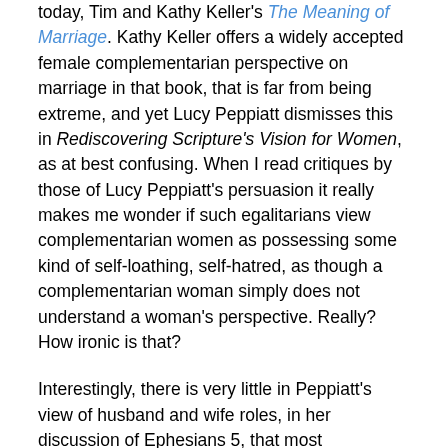today, Tim and Kathy Keller's The Meaning of Marriage. Kathy Keller offers a widely accepted female complementarian perspective on marriage in that book, that is far from being extreme, and yet Lucy Peppiatt dismisses this in Rediscovering Scripture's Vision for Women, as at best confusing. When I read critiques by those of Lucy Peppiatt's persuasion it really makes me wonder if such egalitarians view complementarian women as possessing some kind of self-loathing, self-hatred, as though a complementarian woman simply does not understand a woman's perspective. Really? How ironic is that?
Interestingly, there is very little in Peppiatt's view of husband and wife roles, in her discussion of Ephesians 5, that most complementarians would disagree with. She describes marriage as a partnership of equals, and yet